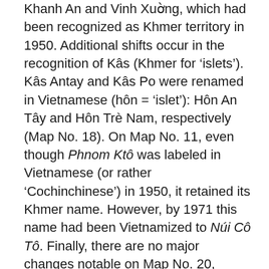Khanh An and Vinh Xuong, which had been recognized as Khmer territory in 1950. Additional shifts occur in the recognition of Kâs (Khmer for 'islets'). Kâs Antay and Kâs Po were renamed in Vietnamese (hôn = 'islet'): Hôn An Tây and Hôn Trè Nam, respectively (Map No. 18). On Map No. 11, even though Phnom Ktô was labeled in Vietnamese (or rather 'Cochinchinese') in 1950, it retained its Khmer name. However, by 1971 this name had been Vietnamized to Núi Cô Tô. Finally, there are no major changes notable on Map No. 20, although two former rivers, the Sông Sở Tượng and the Sông Sở Hạ were re-designated as 'canals' or rạch, by 1971, informing us that the process of dredging the Mekong Delta that began during the colonial period continued between 1950 and 1971.